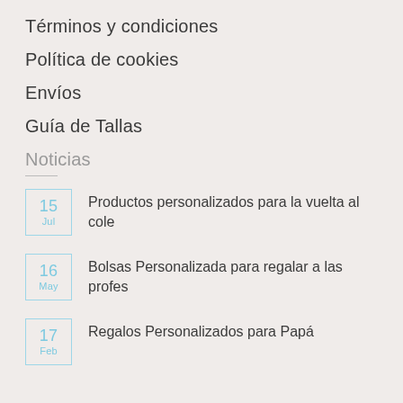Términos y condiciones
Política de cookies
Envíos
Guía de Tallas
Noticias
15 Jul — Productos personalizados para la vuelta al cole
16 May — Bolsas Personalizada para regalar a las profes
17 Feb — Regalos Personalizados para Papá